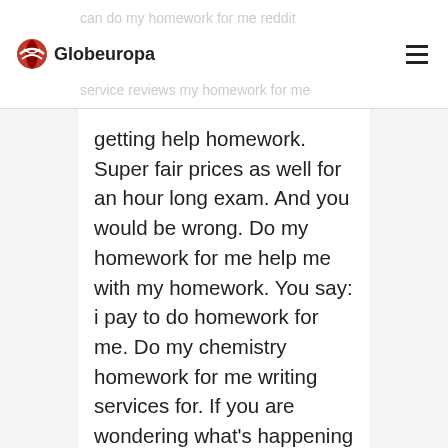can do my homework for me reddit
[Figure (logo): Globeuropa logo with red circular icon and bold text]
to do best essay service reviews my homework for me
getting help homework. Super fair prices as well for an hour long exam. And you would be wrong. Do my homework for me help me with my homework. You say: i pay to do homework for me. Do my chemistry homework for me writing services for. If you are wondering what's happening here, the sub got "restricted". Be the first to share what you think.
:
Order now do my homework for me do your homework
So much more to you can do it and